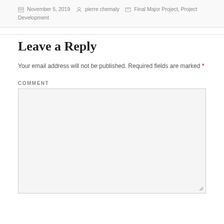November 5, 2019  pierre chemaly  Final Major Project, Project Development
Leave a Reply
Your email address will not be published. Required fields are marked *
COMMENT